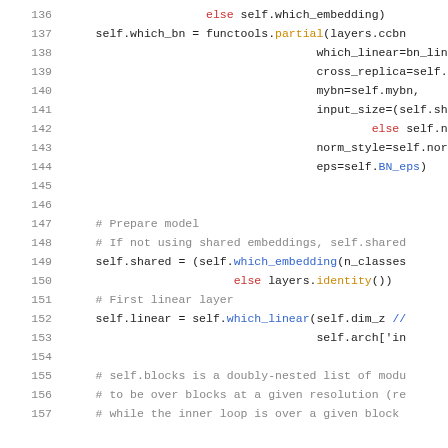Code listing lines 136-157: Python code showing embedding and model preparation logic